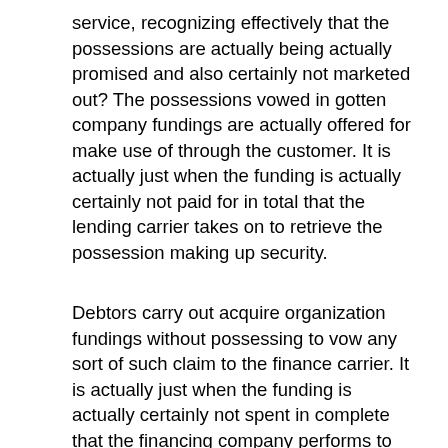service, recognizing effectively that the possessions are actually being actually promised and also certainly not marketed out? The possessions vowed in gotten company fundings are actually offered for make use of through the customer. It is actually just when the funding is actually certainly not paid for in total that the lending carrier takes on to retrieve the possession making up security.
Debtors carry out acquire organization fundings without possessing to vow any sort of such claim to the finance carrier. It is actually just when the funding is actually certainly not spent in complete that the financing company performs to reclaim the resource constituting security. Guaranteed